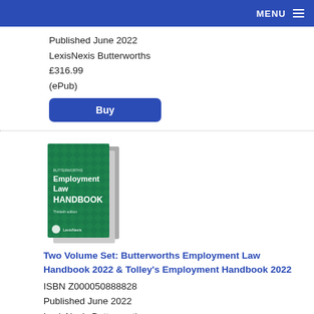MENU
Published June 2022
LexisNexis Butterworths
£316.99
(ePub)
Buy
[Figure (illustration): Book cover image showing Butterworths Employment Law Handbook two-volume set with green cover]
Two Volume Set: Butterworths Employment Law Handbook 2022 & Tolley's Employment Handbook 2022
ISBN Z000050888828
Published June 2022
LexisNexis Butterworths